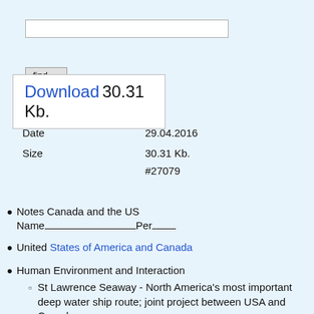[Figure (screenshot): Search input text box]
[Figure (screenshot): Find similar button]
Download 30.31 Kb.
| Date | 29.04.2016 |
| Size | 30.31 Kb. |
|  | #27079 |
Notes Canada and the US
Name_________________Per____
United States of America and Canada
Human Environment and Interaction
  St Lawrence Seaway - North America's most important deep water ship route; joint project between USA and Canada.
  A system of locks, canals, and channels that allow